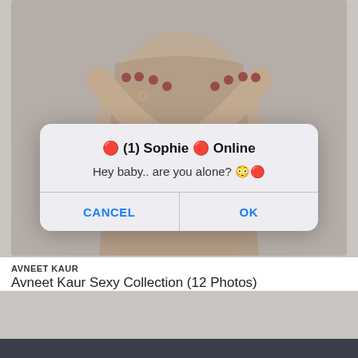[Figure (photo): Woman in taupe/beige outfit with arms crossed, red nail polish, rings on fingers — fashion/entertainment photo used as article thumbnail with dimmed overlay due to dialog]
🔴 (1) Sophie 🔴 Online
Hey baby.. are you alone? 😳🔴
CANCEL
OK
AVNEET KAUR
Avneet Kaur Sexy Collection (12 Photos)